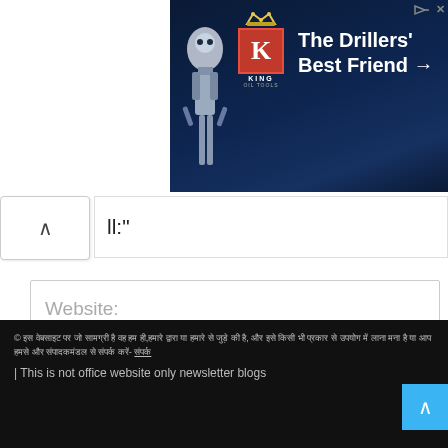[Figure (photo): King Oil Tools advertisement banner with dark blue background, red K logo, crown, and text 'The Drillers' Best Friend →' with a driller robot image on the left.]
ll:"
Website:
Save my name, email, and website in this browser for the next time I comment.
POST COMMENT
© [Hindi text copyright notice] | This is not office website only newsletter blogs